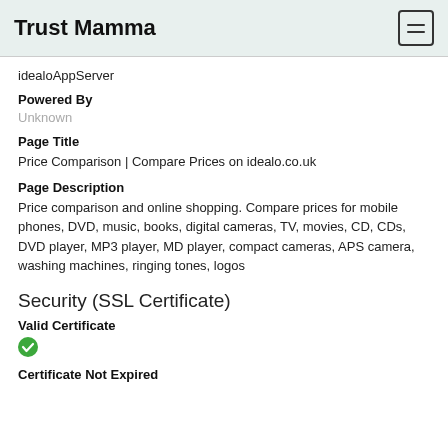Trust Mamma
idealoAppServer
Powered By
Unknown
Page Title
Price Comparison | Compare Prices on idealo.co.uk
Page Description
Price comparison and online shopping. Compare prices for mobile phones, DVD, music, books, digital cameras, TV, movies, CD, CDs, DVD player, MP3 player, MD player, compact cameras, APS camera, washing machines, ringing tones, logos
Security (SSL Certificate)
Valid Certificate
Certificate Not Expired